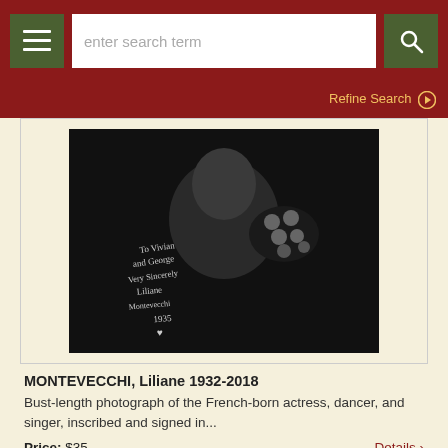enter search term
Refine Search
[Figure (photo): Black and white signed bust-length photograph of Liliane Montevecchi with polka dot bow, inscribed 'To Vivian and George Very Sincerely Liliane Montevecchi 1935' with a heart]
MONTEVECCHI, Liliane 1932-2018
Bust-length photograph of the French-born actress, dancer, and singer, inscribed and signed in...
Price: $35
Details >
[Figure (photo): Black and white photograph of an elderly person, partially visible at bottom of page]